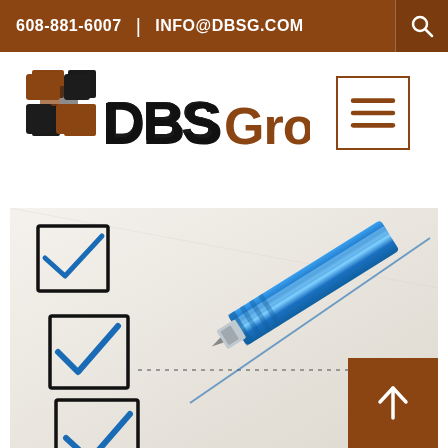608-881-6007  |  INFO@DBSG.COM
[Figure (logo): DBS Group logo with orange and black cube icon and DBS Group text]
[Figure (other): Menu/hamburger button icon in orange border]
[Figure (photo): Close-up photo of a blue pen checking boxes on a checklist form, showing three checkboxes with blue checkmarks and a blue ballpoint pen]